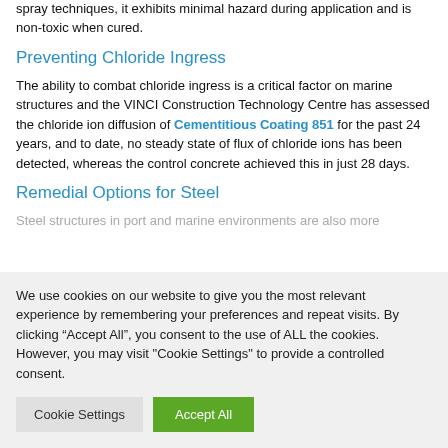spray techniques, it exhibits minimal hazard during application and is non-toxic when cured.
Preventing Chloride Ingress
The ability to combat chloride ingress is a critical factor on marine structures and the VINCI Construction Technology Centre has assessed the chloride ion diffusion of Cementitious Coating 851 for the past 24 years, and to date, no steady state of flux of chloride ions has been detected, whereas the control concrete achieved this in just 28 days.
Remedial Options for Steel
Steel structures in port and marine environments are also more
We use cookies on our website to give you the most relevant experience by remembering your preferences and repeat visits. By clicking “Accept All”, you consent to the use of ALL the cookies. However, you may visit "Cookie Settings" to provide a controlled consent.